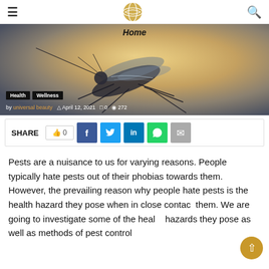≡ [globe logo] 🔍
[Figure (photo): Close-up macro photo of a mosquito on a surface with warm golden-brown bokeh background. Hero image for a pest control article with navigation label 'Home' at top. Tags: Health, Wellness. Meta: by universal beauty, April 12, 2021, 0 comments, 272 views.]
SHARE  👍 0  f  🐦  in  💬  ✉
Pests are a nuisance to us for varying reasons. People typically hate pests out of their phobias towards them. However, the prevailing reason why people hate pests is the health hazard they pose when in close contact them. We are going to investigate some of the health hazards they pose as well as methods of pest control